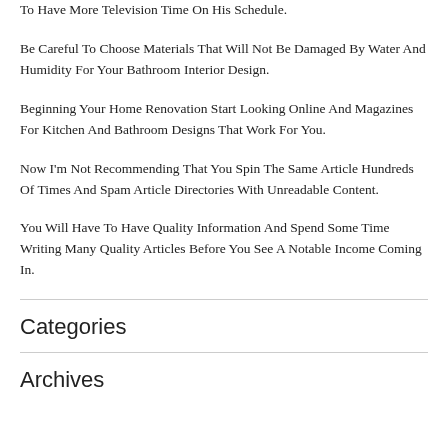To Have More Television Time On His Schedule.
Be Careful To Choose Materials That Will Not Be Damaged By Water And Humidity For Your Bathroom Interior Design.
Beginning Your Home Renovation Start Looking Online And Magazines For Kitchen And Bathroom Designs That Work For You.
Now I'm Not Recommending That You Spin The Same Article Hundreds Of Times And Spam Article Directories With Unreadable Content.
You Will Have To Have Quality Information And Spend Some Time Writing Many Quality Articles Before You See A Notable Income Coming In.
Categories
Archives